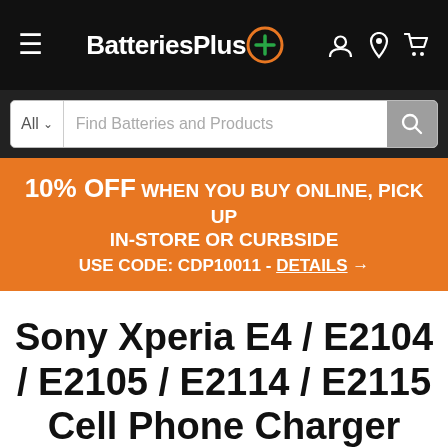BatteriesPlus+ [Navigation bar with hamburger menu, logo, and icons]
All ∨  Find Batteries and Products [Search bar]
10% OFF WHEN YOU BUY ONLINE, PICK UP IN-STORE OR CURBSIDE USE CODE: CDP10011 - DETAILS →
Sony Xperia E4 / E2104 / E2105 / E2114 / E2115 Cell Phone Charger